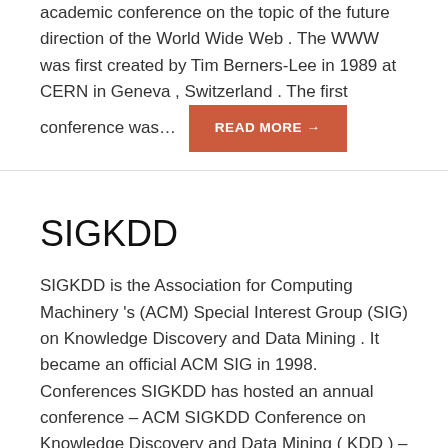academic conference on the topic of the future direction of the World Wide Web . The WWW was first created by Tim Berners-Lee in 1989 at CERN in Geneva , Switzerland . The first conference was…
READ MORE →
SIGKDD
SIGKDD is the Association for Computing Machinery 's (ACM) Special Interest Group (SIG) on Knowledge Discovery and Data Mining . It became an official ACM SIG in 1998. Conferences SIGKDD has hosted an annual conference – ACM SIGKDD Conference on Knowledge Discovery and Data Mining ( KDD ) – since…
READ MORE →